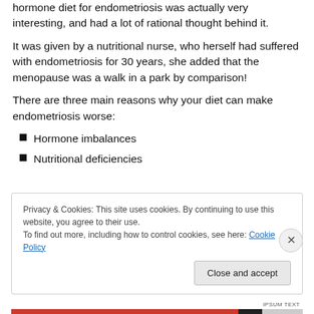hormone diet for endometriosis was actually very interesting, and had a lot of rational thought behind it.
It was given by a nutritional nurse, who herself had suffered with endometriosis for 30 years, she added that the menopause was a walk in a park by comparison!
There are three main reasons why your diet can make endometriosis worse:
Hormone imbalances
Nutritional deficiencies
Privacy & Cookies: This site uses cookies. By continuing to use this website, you agree to their use.
To find out more, including how to control cookies, see here: Cookie Policy